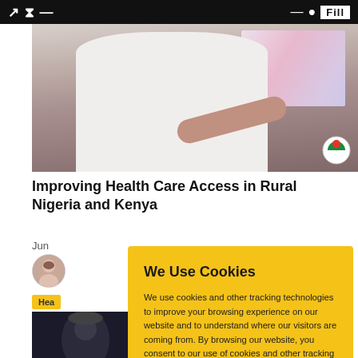[Figure (photo): A man in a white t-shirt gesturing with his hands, presenting in front of a screen with a pink/purple design. A colorful badge/logo is visible in the bottom right corner of the photo.]
Improving Health Care Access in Rural Nigeria and Kenya
Jun
[Figure (photo): A circular avatar showing a woman with light skin and brown hair.]
Hea
[Figure (infographic): Cookie consent modal with yellow/amber background. Title: 'We Use Cookies'. Body text: 'We use cookies and other tracking technologies to improve your browsing experience on our website and to understand where our visitors are coming from. By browsing our website, you consent to our use of cookies and other tracking technologies.' Two blue buttons: ACCEPT and REJECT.]
[Figure (photo): Bottom portion of a second article card showing a dark image of a person wearing a hat.]